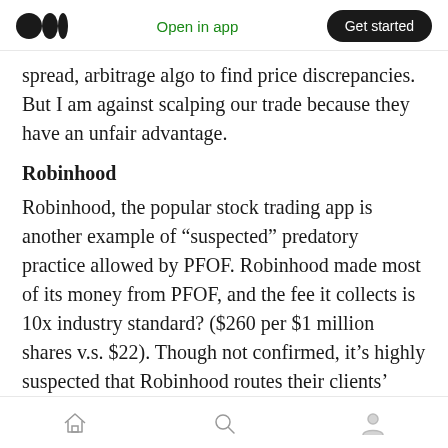Medium app header — logo, Open in app, Get started
spread, arbitrage algo to find price discrepancies. But I am against scalping our trade because they have an unfair advantage.
Robinhood
Robinhood, the popular stock trading app is another example of “suspected” predatory practice allowed by PFOF. Robinhood made most of its money from PFOF, and the fee it collects is 10x industry standard? ($260 per $1 million shares v.s. $22). Though not confirmed, it’s highly suspected that Robinhood routes their clients’ order to market makers that don’t
Bottom navigation bar — Home, Search, Profile